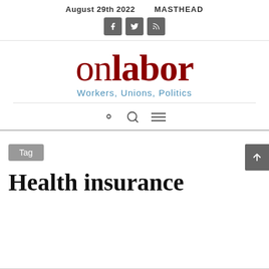August 29th 2022   MASTHEAD
[Figure (logo): OnLabor logo with social media icons (Facebook, Twitter, RSS feed) and tagline 'Workers, Unions, Politics']
on labor — Workers, Unions, Politics
Tag
Health insurance